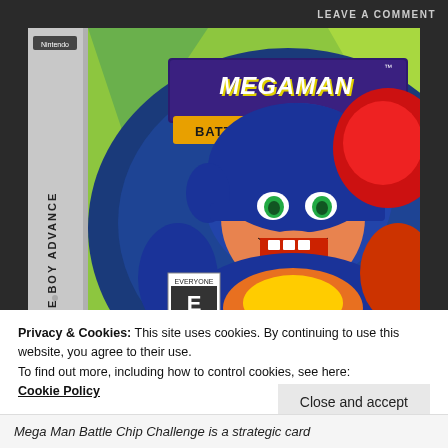LEAVE A COMMENT
[Figure (photo): Game Boy Advance box art for Mega Man Battle Chip Challenge, showing the animated character Mega Man in action pose with battle armor, rated E for Everyone, on a green/yellow background with the game title in bold stylized letters.]
Privacy & Cookies: This site uses cookies. By continuing to use this website, you agree to their use.
To find out more, including how to control cookies, see here: Cookie Policy
Close and accept
Mega Man Battle Chip Challenge is a strategic card